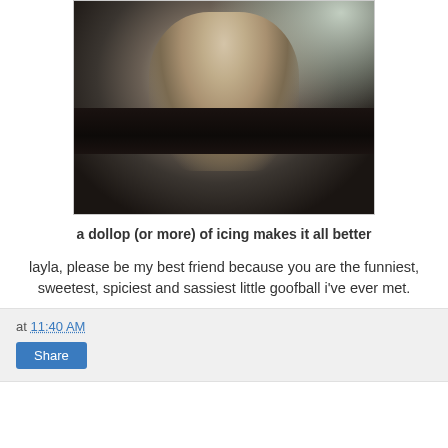[Figure (photo): A young blonde toddler with icing/frosting on her face sitting at a dark table, staring at the camera. Another child is partially visible on the right. Indoor birthday party setting with natural light from a window in background.]
a dollop (or more) of icing makes it all better
layla, please be my best friend because you are the funniest, sweetest, spiciest and sassiest little goofball i've ever met.
at 11:40 AM
Share